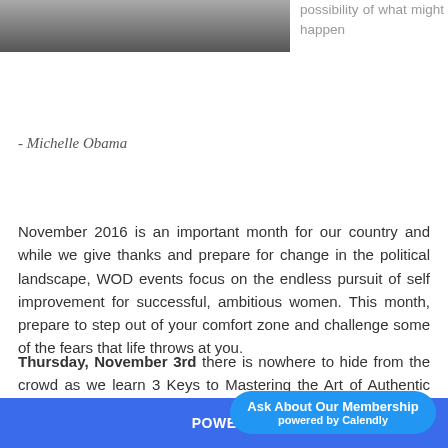[Figure (photo): Grayscale photo of a person, partially visible at top left]
possibility of what might happen
- Michelle Obama
November 2016 is an important month for our country and while we give thanks and prepare for change in the political landscape, WOD events focus on the endless pursuit of self improvement for successful, ambitious women. This month, prepare to step out of your comfort zone and challenge some of the fears that life throws at you.
Thursday, November 3rd there is nowhere to hide from the crowd as we learn 3 Keys to Mastering the Art of Authentic Speaking. Whether you're preparing for
POWERL...
Ask About Our Membership
powered by Calendly